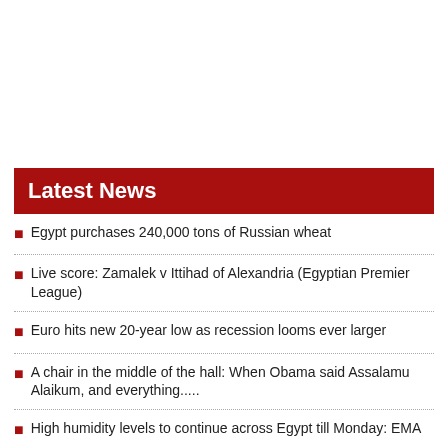Latest News
Egypt purchases 240,000 tons of Russian wheat
Live score: Zamalek v Ittihad of Alexandria (Egyptian Premier League)
Euro hits new 20-year low as recession looms ever larger
A chair in the middle of the hall: When Obama said Assalamu Alaikum, and everything.....
High humidity levels to continue across Egypt till Monday: EMA
UN urges 'immediate de-escalation' in Libya